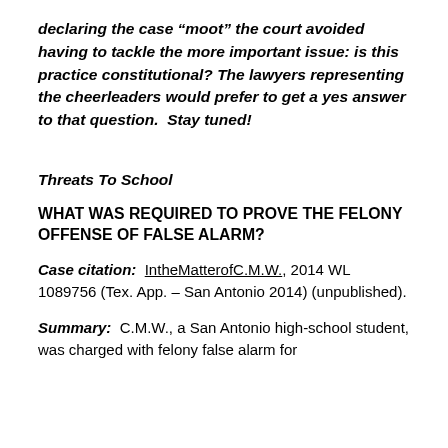declaring the case “moot” the court avoided having to tackle the more important issue: is this practice constitutional? The lawyers representing the cheerleaders would prefer to get a yes answer to that question.  Stay tuned!
Threats To School
WHAT WAS REQUIRED TO PROVE THE FELONY OFFENSE OF FALSE ALARM?
Case citation:  IntheMatterofC.M.W., 2014 WL 1089756 (Tex. App. – San Antonio 2014) (unpublished).
Summary:  C.M.W., a San Antonio high-school student, was charged with felony false alarm for